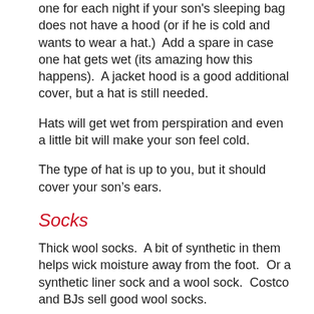one for each night if your son's sleeping bag does not have a hood (or if he is cold and wants to wear a hat.)  Add a spare in case one hat gets wet (its amazing how this happens).  A jacket hood is a good additional cover, but a hat is still needed.
Hats will get wet from perspiration and even a little bit will make your son feel cold.
The type of hat is up to you, but it should cover your son’s ears.
Socks
Thick wool socks.  A bit of synthetic in them helps wick moisture away from the foot.  Or a synthetic liner sock and a wool sock.  Costco and BJs sell good wool socks.
Adults — one trick is to spray your feet with antiperspirant to avoid perspiration.
Gloves/mittens